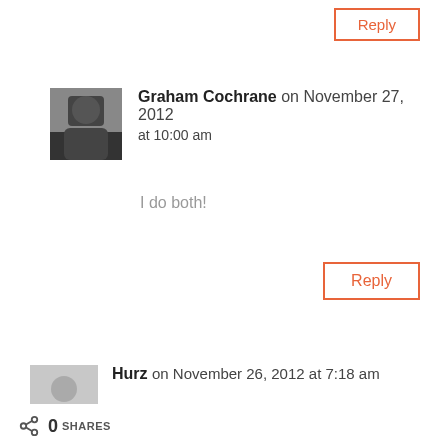Reply
Graham Cochrane on November 27, 2012 at 10:00 am
I do both!
Reply
Hurz on November 26, 2012 at 7:18 am
Today, Cyber monday, this Waves bundle can be bought for €399 (regular price is €650) if you use their
0 SHARES